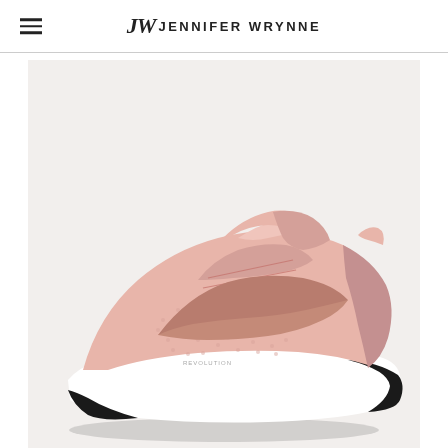JW JENNIFER WRYNNE
[Figure (photo): Pink Nike Revolution 5 running shoe with rose gold swoosh, black sole, and white midsole, shown on a light pink/grey background.]